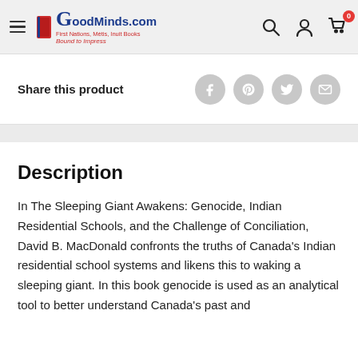GoodMinds.com — First Nations, Métis, Inuit Books. Bound to Impress.
Share this product
Description
In The Sleeping Giant Awakens: Genocide, Indian Residential Schools, and the Challenge of Conciliation, David B. MacDonald confronts the truths of Canada's Indian residential school systems and likens this to waking a sleeping giant. In this book genocide is used as an analytical tool to better understand Canada's past and